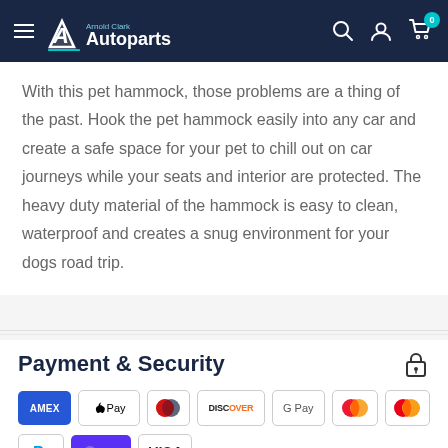Arnold Clark Autoparts
With this pet hammock, those problems are a thing of the past. Hook the pet hammock easily into any car and create a safe space for your pet to chill out on car journeys while your seats and interior are protected. The heavy duty material of the hammock is easy to clean, waterproof and creates a snug environment for your dogs road trip.
Payment & Security
[Figure (logo): Payment method icons: American Express, Apple Pay, Diners Club, Discover, Google Pay, Mastercard (two), PayPal, D Pay, Visa]